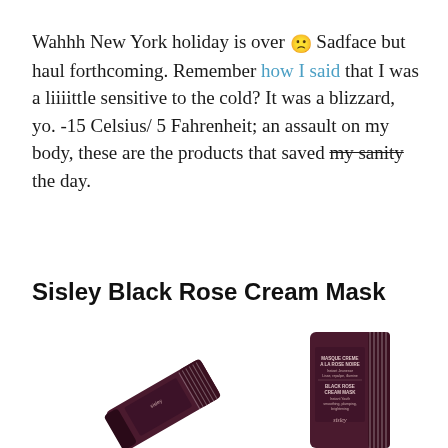Wahhh New York holiday is over 🙁 Sadface but haul forthcoming. Remember how I said that I was a liiiittle sensitive to the cold? It was a blizzard, yo. -15 Celsius/ 5 Fahrenheit; an assault on my body, these are the products that saved my sanity the day.
Sisley Black Rose Cream Mask
[Figure (photo): Two dark purple/maroon tubes of Sisley Black Rose Cream Mask (Masque Crème à la Rose Noire), one lying diagonally and one standing upright showing the label with text 'MASQUE CREME A LA ROSE NOIRE' and 'BLACK ROSE CREAM MASK' with the Sisley logo.]